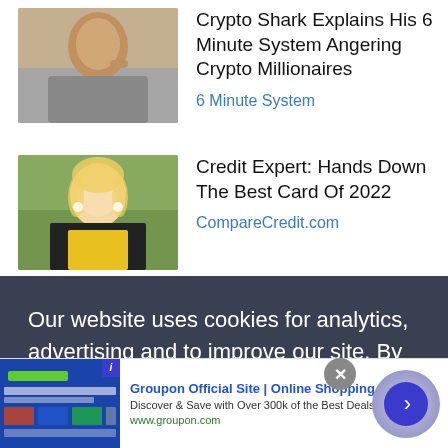[Figure (photo): Ad card showing man's photo with headline: Crypto Shark Explains His 6 Minute System Angering Crypto Millionaires, source: 6 Minute System]
[Figure (photo): Ad card showing woman's photo with headline: Credit Expert: Hands Down The Best Card Of 2022, source: CompareCredit.com]
Our website uses cookies for analytics, advertising and to improve our site. By using our site you agree to our use of cookies. To find out more, including how to change your settings, see our Cookie Policy  Learn More
[Figure (screenshot): Bottom banner ad for Groupon Official Site | Online Shopping Deals. Discover & Save with Over 300k of the Best Deals. www.groupon.com]